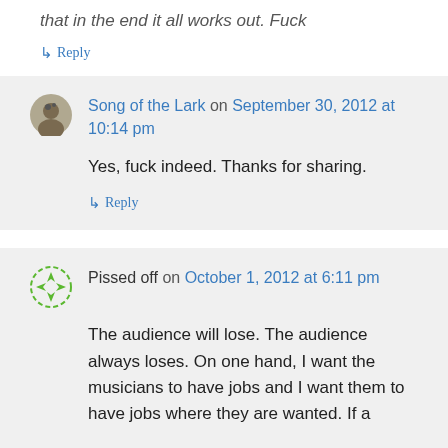that in the end it all works out. Fuck
↳ Reply
Song of the Lark on September 30, 2012 at 10:14 pm
Yes, fuck indeed. Thanks for sharing.
↳ Reply
Pissed off on October 1, 2012 at 6:11 pm
The audience will lose. The audience always loses. On one hand, I want the musicians to have jobs and I want them to have jobs where they are wanted. If a